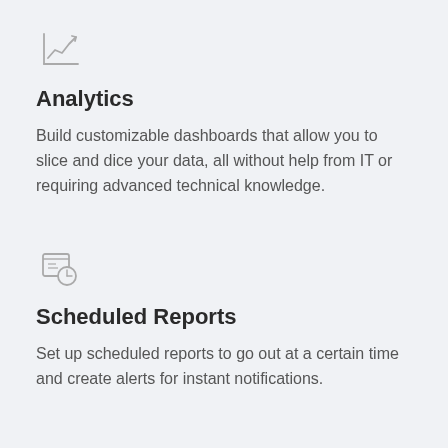[Figure (illustration): Icon of a line/trend chart with an upward arrow inside a bordered square frame]
Analytics
Build customizable dashboards that allow you to slice and dice your data, all without help from IT or requiring advanced technical knowledge.
[Figure (illustration): Icon of a calendar/report page with a clock overlay, indicating scheduled reports]
Scheduled Reports
Set up scheduled reports to go out at a certain time and create alerts for instant notifications.